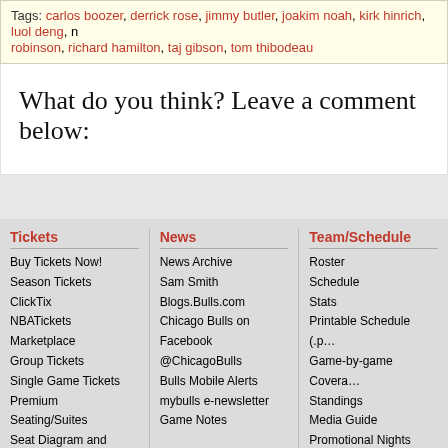Tags: carlos boozer, derrick rose, jimmy butler, joakim noah, kirk hinrich, luol deng, n robinson, richard hamilton, taj gibson, tom thibodeau
What do you think? Leave a comment below:
Tickets: Buy Tickets Now!, Season Tickets, ClickTix, NBATickets Marketplace, Group Tickets, Single Game Tickets, Premium Seating/Suites, Seat Diagram and Parking
News: News Archive, Sam Smith, Blogs.Bulls.com, Chicago Bulls on Facebook, @ChicagoBulls, Bulls Mobile Alerts, mybulls e-newsletter, Game Notes
Team/Schedule: Roster, Schedule, Stats, Printable Schedule (.p, Game-by-game Covera, Standings, Media Guide, Promotional Nights
Copyright © 2022 NBA Media Ventures, LLC | Turner Sports Interactive, Inc.All rights reserve information beyond this page, you agree to abide by the NBA.com Privacy Policy / Your Cali
NBA.COM is part of the Turner Sports and Entertainment Digital Network. Advertise on N
Previous Articles